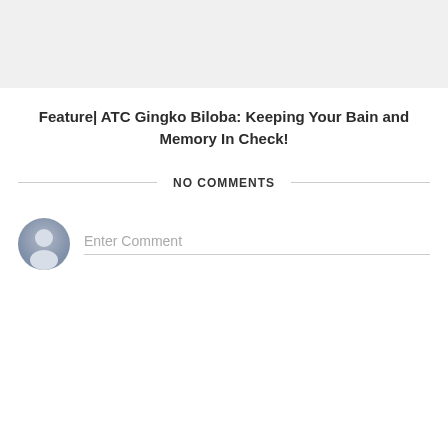[Figure (other): Gray header bar placeholder image area]
Feature| ATC Gingko Biloba: Keeping Your Bain and Memory In Check!
NO COMMENTS
[Figure (other): User avatar icon (gray silhouette) with Enter Comment input field]